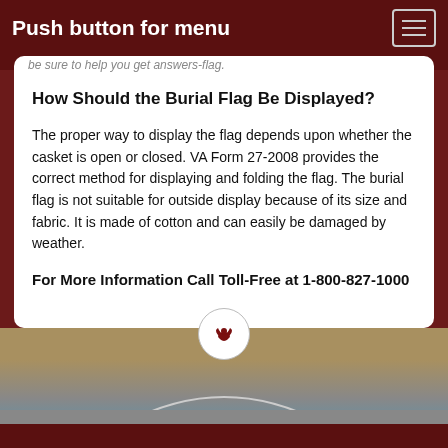Push button for menu
How Should the Burial Flag Be Displayed?
The proper way to display the flag depends upon whether the casket is open or closed. VA Form 27-2008 provides the correct method for displaying and folding the flag. The burial flag is not suitable for outside display because of its size and fabric. It is made of cotton and can easily be damaged by weather.
For More Information Call Toll-Free at 1-800-827-1000
[Figure (logo): Small bird/eagle logo in a white circle at the bottom of the content card]
[Figure (photo): Partial view of an outdoor cemetery or landscape scene visible at the very bottom of the page]